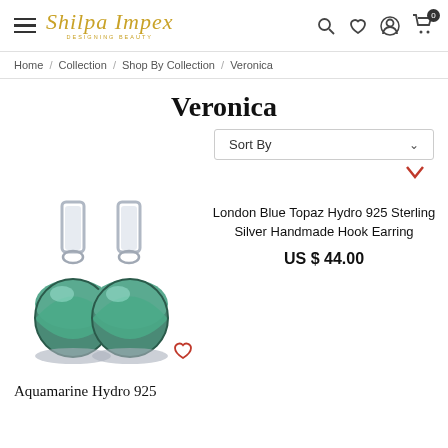[Figure (screenshot): E-commerce website header for Shilpa Impex with hamburger menu, logo, and icons for search, wishlist, account, and cart (showing 0 items)]
Home / Collection / Shop By Collection / Veronica
Veronica
Sort By
[Figure (photo): Pair of sterling silver hook earrings with green/teal aquamarine gemstone drops]
London Blue Topaz Hydro 925 Sterling Silver Handmade Hook Earring
US $ 44.00
Aquamarine Hydro 925